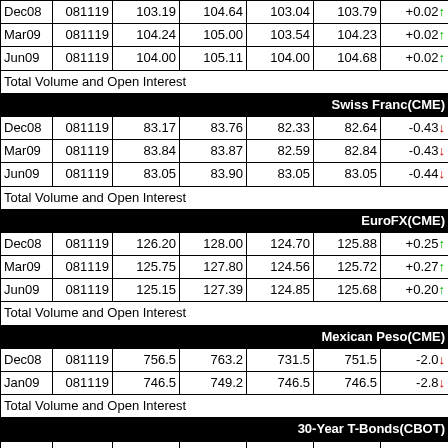|  |  | Open | High | Low | Settle | Chg |
| --- | --- | --- | --- | --- | --- | --- |
| Dec08 | 081119 | 103.19 | 104.64 | 103.04 | 103.79 | +0.02↑ |
| Mar09 | 081119 | 104.24 | 105.00 | 103.54 | 104.23 | +0.02↑ |
| Jun09 | 081119 | 104.00 | 105.11 | 104.00 | 104.68 | +0.02↑ |
| Total Volume and Open Interest |  |  |  |  |  |  |
| Swiss Franc(CME) |  |  |  |  |  |  |
| Dec08 | 081119 | 83.17 | 83.76 | 82.33 | 82.64 | -0.43↓ |
| Mar09 | 081119 | 83.84 | 83.87 | 82.59 | 82.84 | -0.43↓ |
| Jun09 | 081119 | 83.05 | 83.90 | 83.05 | 83.05 | -0.44↓ |
| Total Volume and Open Interest |  |  |  |  |  |  |
| EuroFX(CME) |  |  |  |  |  |  |
| Dec08 | 081119 | 126.20 | 128.00 | 124.70 | 125.88 | +0.25↑ |
| Mar09 | 081119 | 125.75 | 127.80 | 124.56 | 125.72 | +0.27↑ |
| Jun09 | 081119 | 125.15 | 127.39 | 124.85 | 125.68 | +0.20↑ |
| Total Volume and Open Interest |  |  |  |  |  |  |
| Mexican Peso(CME) |  |  |  |  |  |  |
| Dec08 | 081119 | 756.5 | 763.2 | 731.5 | 751.5 | -2.0↓ |
| Jan09 | 081119 | 746.5 | 749.2 | 746.5 | 746.5 | -2.8↓ |
| Total Volume and Open Interest |  |  |  |  |  |  |
| 30-Year T-Bonds(CBOT) |  |  |  |  |  |  |
| Dec08 | 081119 | 120~095 | 123~000 | 120~090 | 122~030 | +1~300↑ |
| Mar09 | 081119 | 119~035 | 121~255 | 118~295 | 120~280 | +1~305↑ |
| Jun09 | 081119 | 119~245 | 119~245 | 117~260 | 119~245 | +1~305↑ |
| Total Volume and Open Interest |  |  |  |  |  |  |
| 10-Year T-Notes(CBOT) |  |  |  |  |  |  |
| Dec08 | 081119 | 118~130 | 119~195 | 118~120 | 119~080 | +0~250↑ |